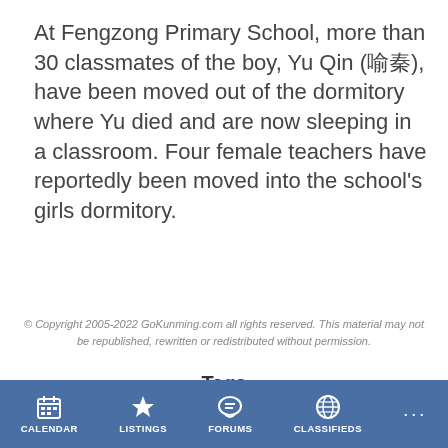At Fengzong Primary School, more than 30 classmates of the boy, Yu Qin (喻秦), have been moved out of the dormitory where Yu died and are now sleeping in a classroom. Four female teachers have reportedly been moved into the school's girls dormitory.
© Copyright 2005-2022 GoKunming.com all rights reserved. This material may not be republished, rewritten or redistributed without permission.
Tags
DALI
HIV/AIDS
HOMOSEXUALITY
KUNYANG
POLICE
SUICIDE
XING KUN
YU QIN
Share this article
[Figure (other): Social media sharing buttons: Facebook, Reddit, LinkedIn, Twitter, Weibo, WeChat]
CALENDAR  LISTINGS  FORUMS  CLASSIFIEDS  ...